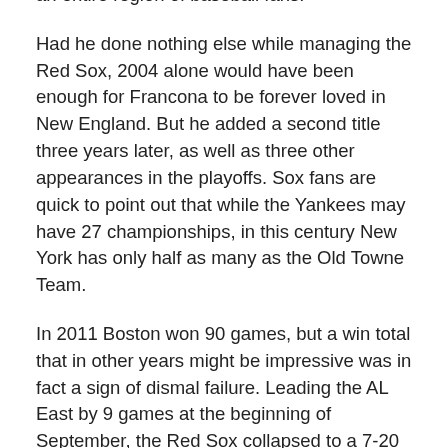an entire region of baseball fans.
Had he done nothing else while managing the Red Sox, 2004 alone would have been enough for Francona to be forever loved in New England. But he added a second title three years later, as well as three other appearances in the playoffs. Sox fans are quick to point out that while the Yankees may have 27 championships, in this century New York has only half as many as the Old Towne Team.
In 2011 Boston won 90 games, but a win total that in other years might be impressive was in fact a sign of dismal failure. Leading the AL East by 9 games at the beginning of September, the Red Sox collapsed to a 7-20 record over the final month, tumbling all the way to third place in the division. Shortly after the final game the team announced it was not exercising its 2012 option on Francona's contract.